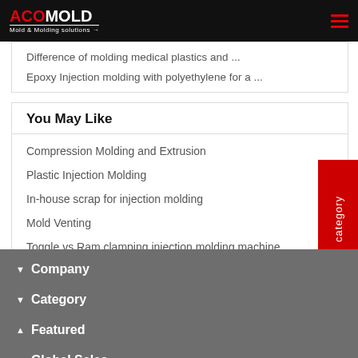ACO MOLD - Mold & Molding solutions
Difference of molding medical plastics and ...
Epoxy Injection molding with polyethylene for a ...
You May Like
Compression Molding and Extrusion
Plastic Injection Molding
In-house scrap for injection molding
Mold Venting
Toggle vs Ram clamping injection molding machine
category
Company
Category
Featured
Global Sales